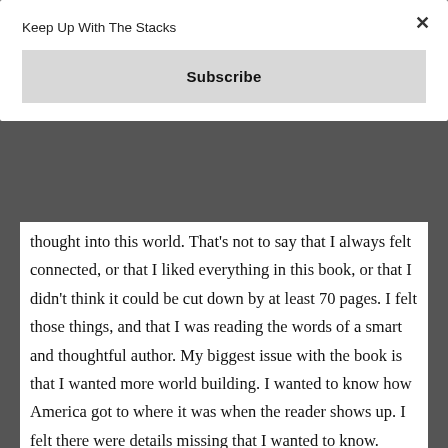Keep Up With The Stacks
Subscribe
thought into this world. That's not to say that I always felt connected, or that I liked everything in this book, or that I didn't think it could be cut down by at least 70 pages. I felt those things, and that I was reading the words of a smart and thoughtful author. My biggest issue with the book is that I wanted more world building. I wanted to know how America got to where it was when the reader shows up. I felt there were details missing that I wanted to know. Overall the book is thought provoking and examines race in a way that we so rarely see in literature